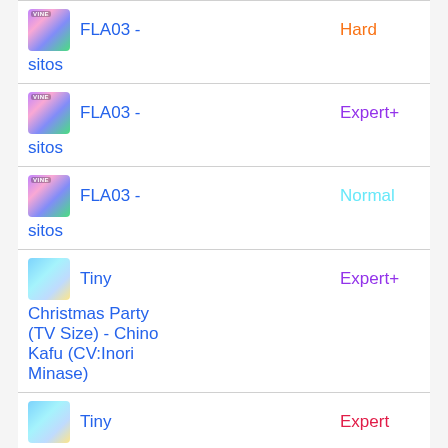FLA03 - sitos Hard
FLA03 - sitos Expert+
FLA03 - sitos Normal
Tiny Christmas Party (TV Size) - Chino Kafu (CV:Inori Minase) Expert+
Tiny Christmas Party (TV Size) - Chino Expert